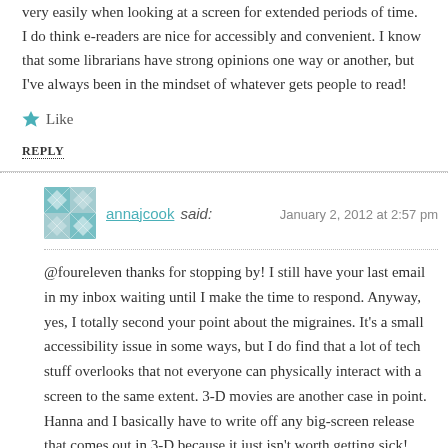very easily when looking at a screen for extended periods of time. I do think e-readers are nice for accessibly and convenient. I know that some librarians have strong opinions one way or another, but I've always been in the mindset of whatever gets people to read!
★ Like
REPLY
annajcook said: January 2, 2012 at 2:57 pm
@foureleven thanks for stopping by! I still have your last email in my inbox waiting until I make the time to respond. Anyway, yes, I totally second your point about the migraines. It's a small accessibility issue in some ways, but I do find that a lot of tech stuff overlooks that not everyone can physically interact with a screen to the same extent. 3-D movies are another case in point. Hanna and I basically have to write off any big-screen release that comes out in 3-D because it just isn't worth getting sick!